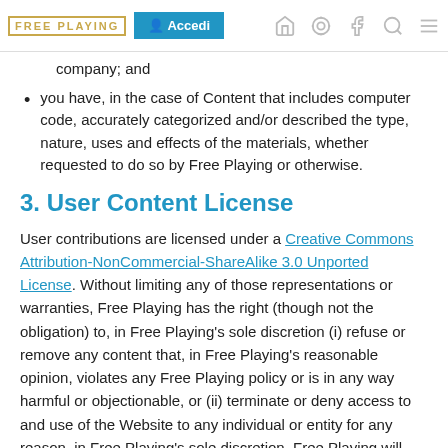FREE PLAYING | Accedi
company; and
you have, in the case of Content that includes computer code, accurately categorized and/or described the type, nature, uses and effects of the materials, whether requested to do so by Free Playing or otherwise.
3. User Content License
User contributions are licensed under a Creative Commons Attribution-NonCommercial-ShareAlike 3.0 Unported License. Without limiting any of those representations or warranties, Free Playing has the right (though not the obligation) to, in Free Playing's sole discretion (i) refuse or remove any content that, in Free Playing's reasonable opinion, violates any Free Playing policy or is in any way harmful or objectionable, or (ii) terminate or deny access to and use of the Website to any individual or entity for any reason, in Free Playing's sole discretion. Free Playing will have no obligation to provide a refund of any amounts previously paid.